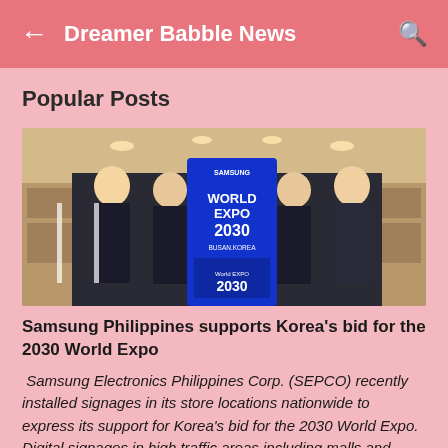Dreamer Babble News
Popular Posts
[Figure (photo): Four Samsung Philippines store employees posing with a blue sign that reads 'WORLD EXPO 2030 BUSAN KOREA' inside a Samsung store.]
Samsung Philippines supports Korea's bid for the 2030 World Expo
Samsung Electronics Philippines Corp. (SEPCO) recently installed signages in its store locations nationwide to express its support for Korea's bid for the 2030 World Expo. Digital signages in high traffic areas including malls and airport terminals